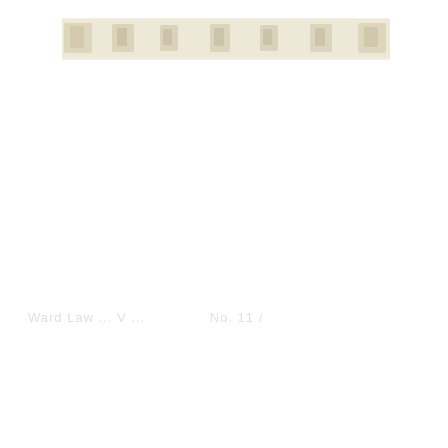[Figure (other): A faded, aged horizontal strip/banner image near the top of the page with decorative or floral-like patterns in cream and tan tones, appearing to be a scanned document header or decorative border element.]
Ward Law ... V ... ... No. 11 /